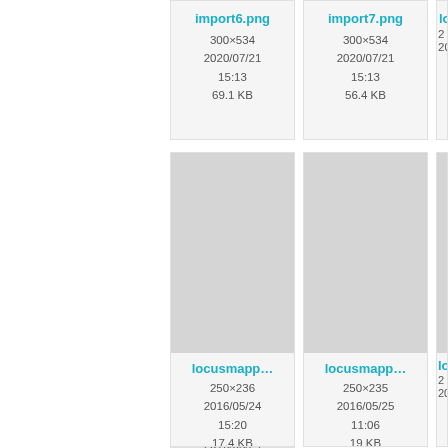[Figure (screenshot): File browser grid showing image file thumbnails with metadata. Row 1: import6.png (300×534, 2020/07/21 15:13, 69.1 KB), import7.png (300×534, 2020/07/21 15:13, 56.4 KB), partial third card. Row 2: locusmapp... (250×236, 2016/05/24 15:20, 17.4 KB), locusmapp... (250×235, 2016/05/25 11:06, 19 KB), partial third card. Row 3: poifilter.png (partial), poimanag... (partial), partial third card.]